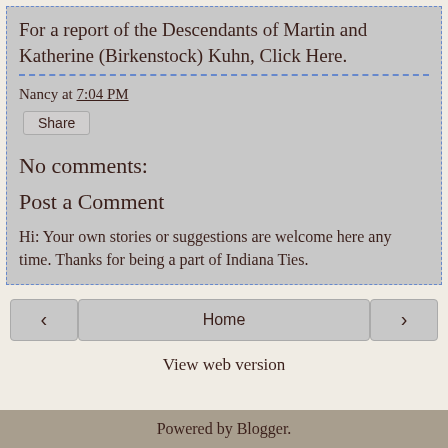For a report of the Descendants of Martin and Katherine (Birkenstock) Kuhn, Click Here.
Nancy at 7:04 PM
Share
No comments:
Post a Comment
Hi: Your own stories or suggestions are welcome here any time. Thanks for being a part of Indiana Ties.
‹
Home
›
View web version
Powered by Blogger.